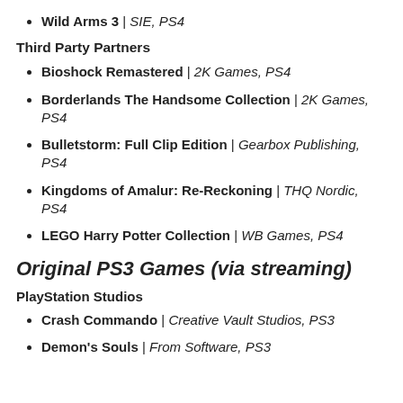Wild Arms 3 | SIE, PS4
Third Party Partners
Bioshock Remastered | 2K Games, PS4
Borderlands The Handsome Collection | 2K Games, PS4
Bulletstorm: Full Clip Edition | Gearbox Publishing, PS4
Kingdoms of Amalur: Re-Reckoning | THQ Nordic, PS4
LEGO Harry Potter Collection | WB Games, PS4
Original PS3 Games (via streaming)
PlayStation Studios
Crash Commando | Creative Vault Studios, PS3
Demon's Souls | From Software, PS3